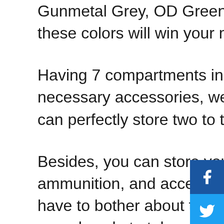Gunmetal Grey, OD Green, Pink and Black, Tel and Black; these colors will win your mind.
Having 7 compartments in total, you can pick your necessary accessories, weapons, or pistols in your bag. You can perfectly store two to three handguns very easily.
Besides, you can store your necessary magazines, ammunition, and accessory storage. That means you don't have to bother about the place if you choose this bag. No more hassle to take with all the important and work items.
To keep yourself in the safe zone, it has got a